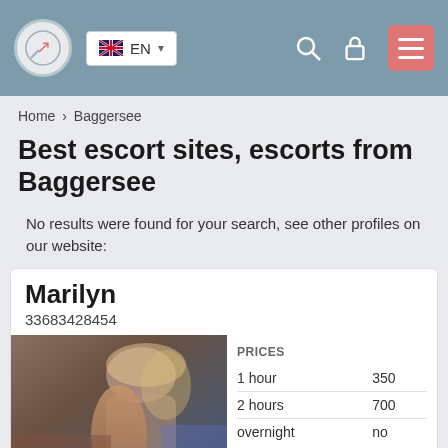EN (language selector) navigation header
Home > Baggersee
Best escort sites, escorts from Baggersee
No results were found for your search, see other profiles on our website:
Marilyn
33683428454
[Figure (photo): Photo of escort named Marilyn, showing a person against a textured background]
|  |  |
| --- | --- |
| PRICES |  |
| 1 hour | 350 |
| 2 hours | 700 |
| overnight | no |
| Age | 24 |
| Height | 152 |